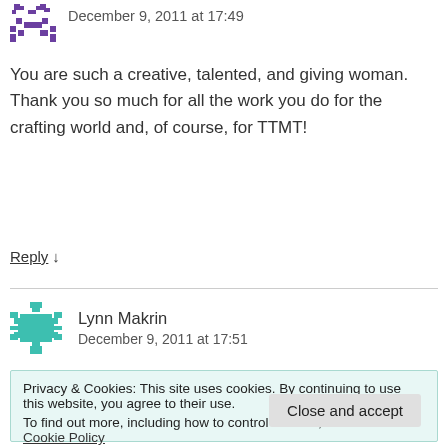December 9, 2011 at 17:49
You are such a creative, talented, and giving woman. Thank you so much for all the work you do for the crafting world and, of course, for TTMT!
Reply ↓
Lynn Makrin
December 9, 2011 at 17:51
Privacy & Cookies: This site uses cookies. By continuing to use this website, you agree to their use.
To find out more, including how to control cookies, see here: Cookie Policy